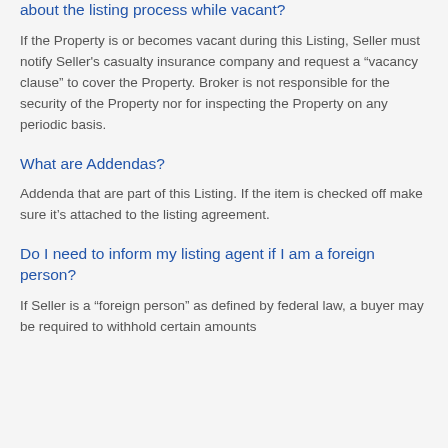about the listing process while vacant?
If the Property is or becomes vacant during this Listing, Seller must notify Seller’s casualty insurance company and request a “vacancy clause” to cover the Property. Broker is not responsible for the security of the Property nor for inspecting the Property on any periodic basis.
What are Addendas?
Addenda that are part of this Listing. If the item is checked off make sure it’s attached to the listing agreement.
Do I need to inform my listing agent if I am a foreign person?
If Seller is a “foreign person” as defined by federal law, a buyer may be required to withhold certain amounts